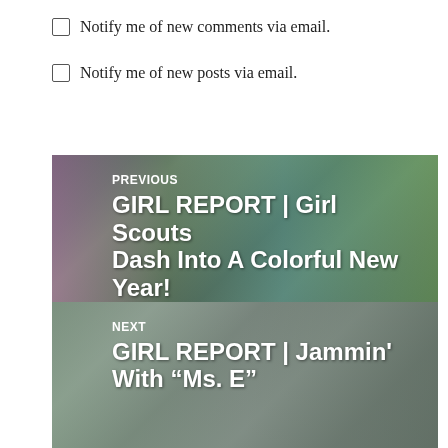Notify me of new comments via email.
Notify me of new posts via email.
[Figure (photo): Navigation block: PREVIOUS - Girl Scouts in colorful tutus and gear at a color dash run event. Text overlay reads: PREVIOUS GIRL REPORT | Girl Scouts Dash Into A Colorful New Year!]
[Figure (photo): Navigation block: NEXT - Group photo of adults and children in a classroom/gym setting. Text overlay reads: NEXT GIRL REPORT | Jammin' With "Ms. E"]